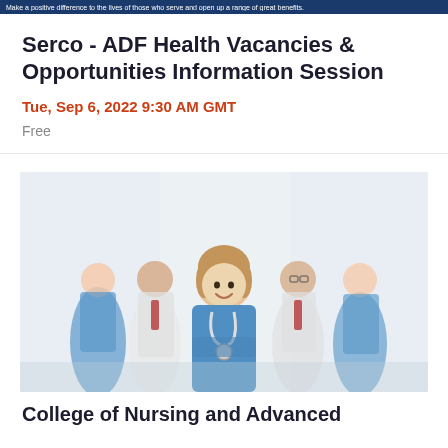Make a positive difference to the lives of those who serve and open up a range of great benefits.
Serco - ADF Health Vacancies & Opportunities Information Session
Tue, Sep 6, 2022 9:30 AM GMT
Free
[Figure (photo): Group of five medical professionals in scrubs and white coats, smiling, with a female nurse in blue scrubs with stethoscope at front center.]
College of Nursing and Advanced